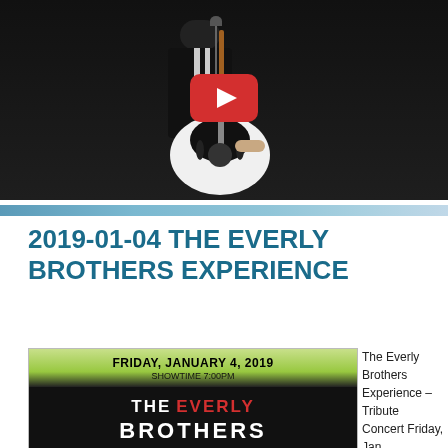[Figure (photo): Video thumbnail showing a musician in a black suit playing a black and white guitar on a dark stage, with a YouTube play button overlay in the center]
2019-01-04 THE EVERLY BROTHERS EXPERIENCE
[Figure (photo): Event poster for The Everly Brothers Experience. Text reads: FRIDAY, JANUARY 4, 2019 / SHOWTIME 7:00PM / THE EVERLY BROTHERS on a dark background with green gradient at top]
The Everly Brothers Experience – Tribute Concert Friday, Jan.